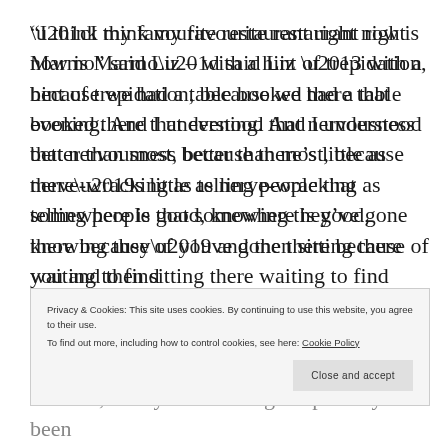“I think my favourite restaurant right now is Marmo” said Liz – with a hint of trepidation, because we had a table booked there that evening. And I understood that nervousness better than most, because there’s little as nerve-wracking as telling people that somewhere is good, knowing they’ve gone there because of you and then sitting there waiting to find
Privacy & Cookies: This site uses cookies. By continuing to use this website, you agree to their use.
To find out more, including how to control cookies, see here: Cookie Policy
Close and accept
and ben, a very entertaining couple they’d been